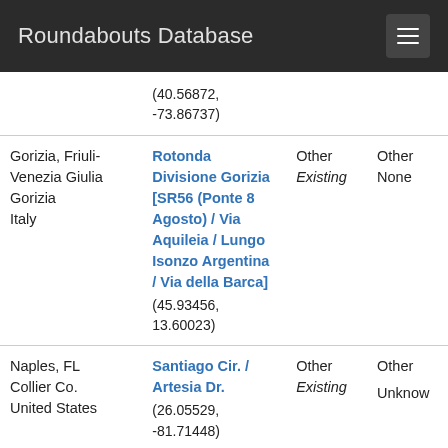Roundabouts Database
| Location | Name / Coordinates | Type | Status / Other |
| --- | --- | --- | --- |
|  | (40.56872, -73.86737) |  |  |
| Gorizia, Friuli-Venezia Giulia
Gorizia
Italy | Rotonda Divisione Gorizia [SR56 (Ponte 8 Agosto) / Via Aquileia / Lungo Isonzo Argentina / Via della Barca]
(45.93456, 13.60023) | Other
Existing | Other
None |
| Naples, FL
Collier Co.
United States | Santiago Cir. / Artesia Dr.
(26.05529, -81.71448) | Other
Existing | Other
Unknown |
| Naples, FL
Collier Co. | Catalina Dr. / Biscayne Dr. / | Other
Existing | Other
Unknown |